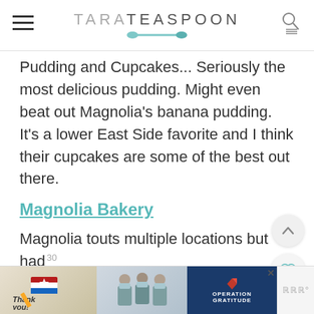TARA TEASPOON
Pudding and Cupcakes... Seriously the most delicious pudding. Might even beat out Magnolia's banana pudding. It's a lower East Side favorite and I think their cupcakes are some of the best out there.
Magnolia Bakery
Magnolia touts multiple locations but had humble beginnings in the West Village. Rumor has it that a feature on Sex an...
[Figure (screenshot): Operation Gratitude thank you advertisement banner at the bottom of the page]